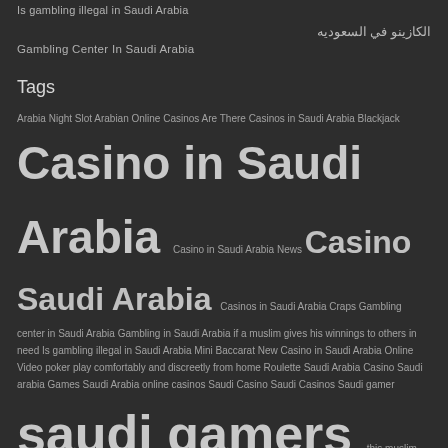Is gambling illegal in Saudi Arabia
الكازينو في السعوديه
Gambling Center In Saudi Arabia
Tags
Arabia Night Slot Arabian Online Casinos Are There Casinos in Saudi Arabia Blackjack Casino in Saudi Arabia Casino in Saudi Arabia News Casino Saudi Arabia Casinos in Saudi Arabia Craps Gambling center in Saudi Arabia Gambling in Saudi Arabia if a muslim gives his winnings to others in need Is gambling illegal in Saudi Arabia Mini Baccarat New Casino in Saudi Arabia Online Video poker play comfortably and discreetly from home Roulette Saudi Arabia Casino Saudi arabia Games Saudi Arabia online casinos Saudi Casino Saudi Casinos Saudi gamer saudi gamers this muslim can play without feeling guilty اخبار كازينو السعودية العاب كارزنو